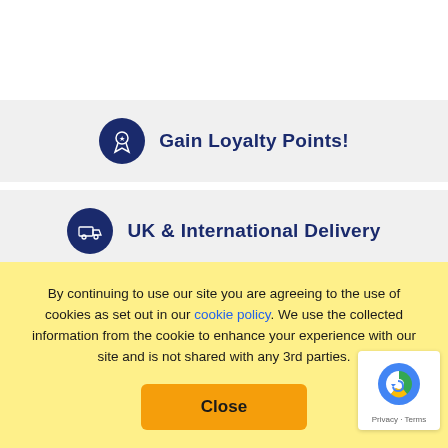[Figure (infographic): Gain Loyalty Points banner with dark blue circular icon containing a badge/star graphic and bold dark blue text]
[Figure (infographic): UK & International Delivery banner with dark blue circular icon containing a delivery van graphic and bold dark blue text]
Share  Tweet  Pin it  Refer Friends
[Figure (other): Partial QR code visible at bottom left]
By continuing to use our site you are agreeing to the use of cookies as set out in our cookie policy. We use the collected information from the cookie to enhance your experience with our site and is not shared with any 3rd parties.
[Figure (other): Close button in amber/yellow color]
[Figure (other): reCAPTCHA badge showing Privacy and Terms]